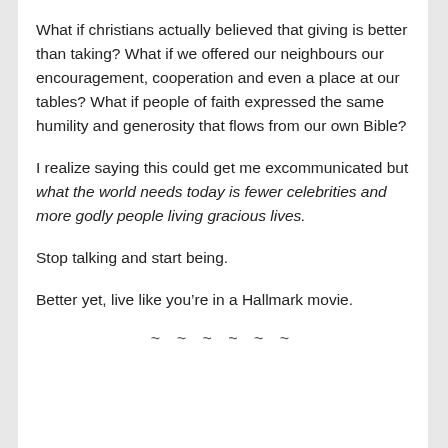What if christians actually believed that giving is better than taking? What if we offered our neighbours our encouragement, cooperation and even a place at our tables? What if people of faith expressed the same humility and generosity that flows from our own Bible?
I realize saying this could get me excommunicated but what the world needs today is fewer celebrities and more godly people living gracious lives.
Stop talking and start being.
Better yet, live like you’re in a Hallmark movie.
~ ~ ~ ~ ~ ~